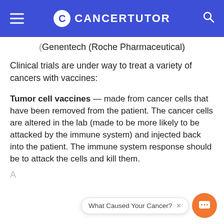CANCERTUTOR
(... partially visible ...) Genentech (Roche Pharmaceutical)
Clinical trials are under way to treat a variety of cancers with vaccines:
Tumor cell vaccines — made from cancer cells that have been removed from the patient. The cancer cells are altered in the lab (made to be more likely to be attacked by the immune system) and injected back into the patient. The immune system response should be to attack the cells and kill them.
What Caused Your Cancer? (chat widget)